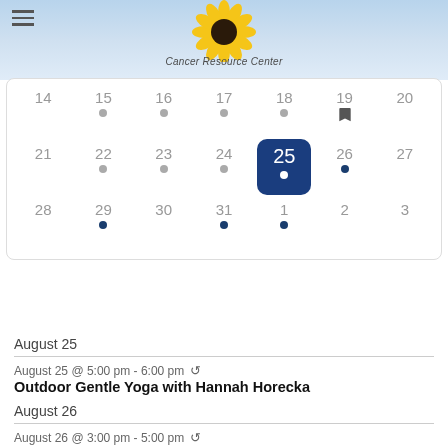Cancer Resource Center
[Figure (other): Monthly calendar view showing dates 14-20, 21-27, 28-3, with selected date 25 highlighted in dark blue. Event dots shown on various dates.]
August 25
August 25 @ 5:00 pm - 6:00 pm
Outdoor Gentle Yoga with Hannah Horecka
August 26
August 26 @ 3:00 pm - 5:00 pm
Remote Healing Touch with Jean McKillop
August 29